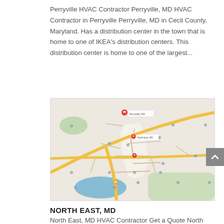Perryville HVAC Contractor Perryville, MD HVAC Contractor in Perryville Perryville, MD in Cecil County, Maryland. Has a distribution center in the town that is home to one of IKEA's distribution centers. This distribution center is home to one of the largest...
[Figure (map): Google Maps screenshot showing Perryville, MD area with road network, yellow highways, green wooded areas, blue water body, and red map pin markers indicating HVAC service locations.]
NORTH EAST, MD
North East, MD HVAC Contractor Get a Quote North